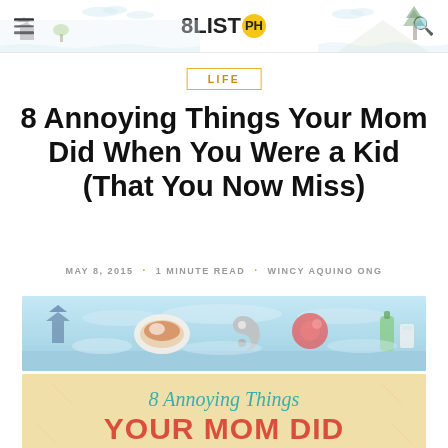8LIST.PH
LIFE
8 Annoying Things Your Mom Did When You Were a Kid (That You Now Miss)
MAY 8, 2015 · 1 MINUTE READ · WINCY AQUINO ONG
[Figure (illustration): Decorative header illustration with Korean-style landscape motifs including trees, mountains, and clouds on white background]
[Figure (illustration): Blue-toned decorative banner with Korean cultural elements including food dishes, yin-yang motif, and bottle silhouette]
[Figure (infographic): Cream/tan colored infographic card with text '8 Annoying Things YOUR MOM DID' in teal cursive and red/orange bold letters]